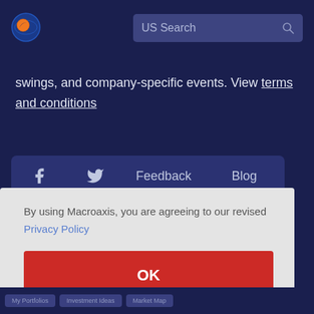US Search
swings, and company-specific events. View terms and conditions
Feedback  Blog
By using Macroaxis, you are agreeing to our revised Privacy Policy
OK